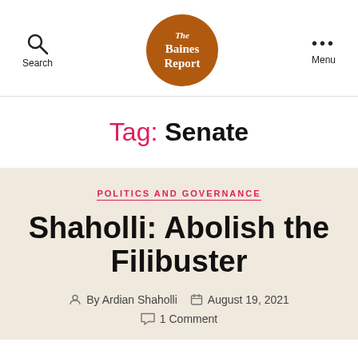The Baines Report — Search | Menu
Tag: Senate
POLITICS AND GOVERNANCE
Shaholli: Abolish the Filibuster
By Ardian Shaholli  August 19, 2021  1 Comment